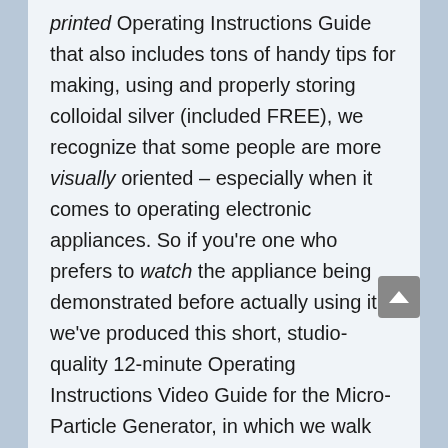printed Operating Instructions Guide that also includes tons of handy tips for making, using and properly storing colloidal silver (included FREE), we recognize that some people are more visually oriented – especially when it comes to operating electronic appliances. So if you're one who prefers to watch the appliance being demonstrated before actually using it, we've produced this short, studio-quality 12-minute Operating Instructions Video Guide for the Micro-Particle Generator, in which we walk you through the four simple steps to making your own high-quality micro-particle colloidal silver.